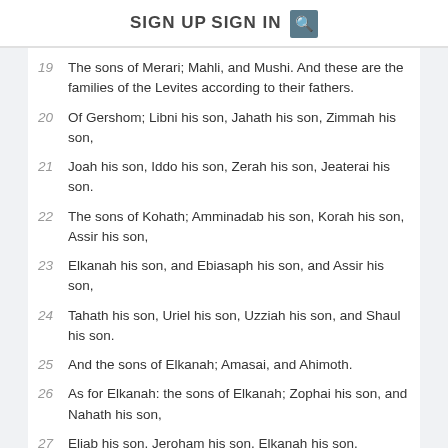SIGN UP   SIGN IN  [search]
19  The sons of Merari; Mahli, and Mushi. And these are the families of the Levites according to their fathers.
20  Of Gershom; Libni his son, Jahath his son, Zimmah his son,
21  Joah his son, Iddo his son, Zerah his son, Jeaterai his son.
22  The sons of Kohath; Amminadab his son, Korah his son, Assir his son,
23  Elkanah his son, and Ebiasaph his son, and Assir his son,
24  Tahath his son, Uriel his son, Uzziah his son, and Shaul his son.
25  And the sons of Elkanah; Amasai, and Ahimoth.
26  As for Elkanah: the sons of Elkanah; Zophai his son, and Nahath his son,
27  Eliab his son, Jeroham his son, Elkanah his son.
28  And the sons of Samuel; the firstborn Vashni, and Abiah.